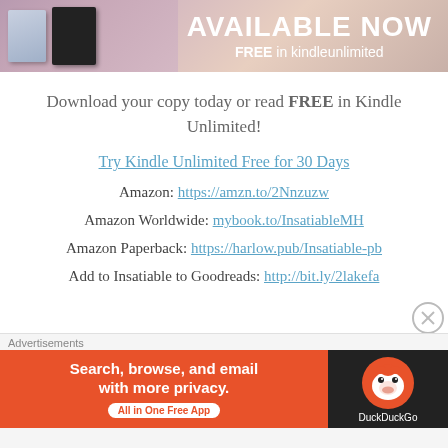[Figure (illustration): Book advertisement banner showing 'AVAILABLE NOW' and 'FREE in kindleunlimited' text on a pink/warm background with book cover images on the left]
Download your copy today or read FREE in Kindle Unlimited!
Try Kindle Unlimited Free for 30 Days
Amazon: https://amzn.to/2Nnzuzw
Amazon Worldwide: mybook.to/InsatiableMH
Amazon Paperback: https://harlow.pub/Insatiable-pb
Add to Insatiable to Goodreads: http://bit.ly/2lakefa
[Figure (illustration): DuckDuckGo advertisement banner: orange left section with 'Search, browse, and email with more privacy. All in One Free App' and dark right section with DuckDuckGo duck logo]